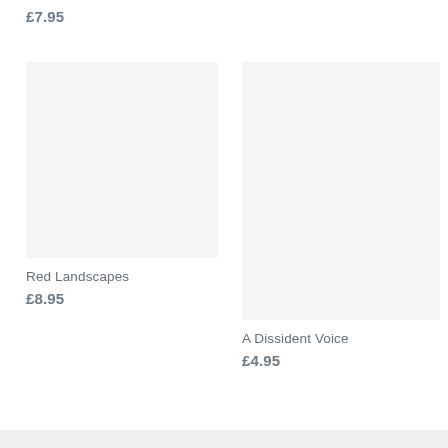£7.95
[Figure (other): Book cover placeholder image (light grey rectangle) for Red Landscapes]
Red Landscapes
£8.95
[Figure (other): Book cover placeholder image (light grey rectangle) for A Dissident Voice]
A Dissident Voice
£4.95